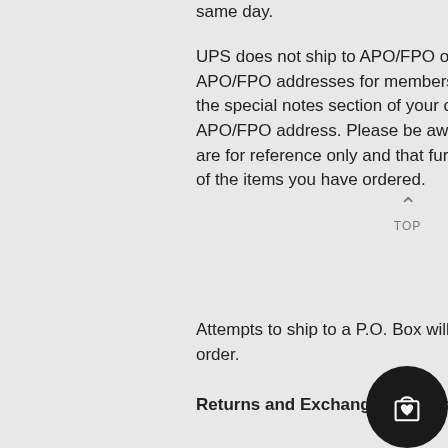same day.
UPS does not ship to APO/FPO or P.O. Box addresses however we will gladly ship to APO/FPO addresses for members of the armed services using USPS. Please note in the special notes section of your cart that you require the order to be shipped to an APO/FPO address. Please be aware that the shipping rates shown during checkout are for reference only and that further costs may need to be added to insure the value of the items you have ordered.
Attempts to ship to a P.O. Box will delay and in most cases prevent delivery of your order.
Returns and Exchanges Procedures:
There is no need to contact all3sports.com prior to returning an item. Use your order number included on your packing slip as a RMA and mail to:
All3sports.com
Returns Department